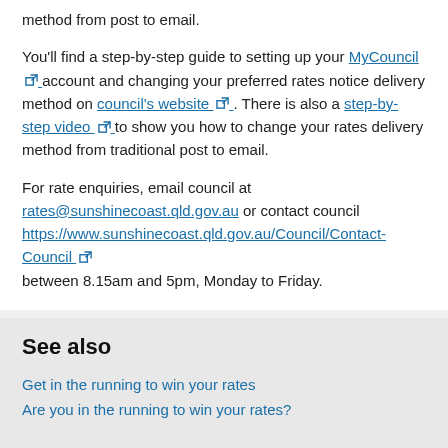method from post to email.
You'll find a step-by-step guide to setting up your MyCouncil account and changing your preferred rates notice delivery method on council's website. There is also a step-by-step video to show you how to change your rates delivery method from traditional post to email.
For rate enquiries, email council at rates@sunshinecoast.qld.gov.au or contact council https://www.sunshinecoast.qld.gov.au/Council/Contact-Council between 8.15am and 5pm, Monday to Friday.
See also
Get in the running to win your rates
Are you in the running to win your rates?